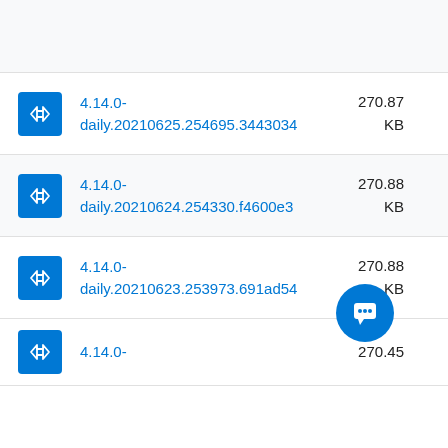4.14.0-daily.20210625.254695.3443034 270.87 KB
4.14.0-daily.20210624.254330.f4600e3 270.88 KB
4.14.0-daily.20210623.253973.691ad54 270.88 KB
4.14.0- 270.45